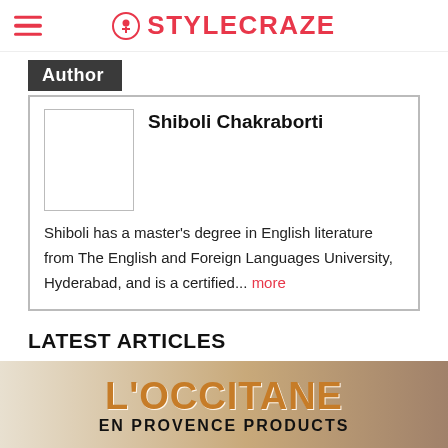STYLECRAZE
Author
Shiboli Chakraborti
Shiboli has a master's degree in English literature from The English and Foreign Languages University, Hyderabad, and is a certified... more
LATEST ARTICLES
[Figure (photo): L'OCCITANE EN PROVENCE PRODUCTS article thumbnail image]